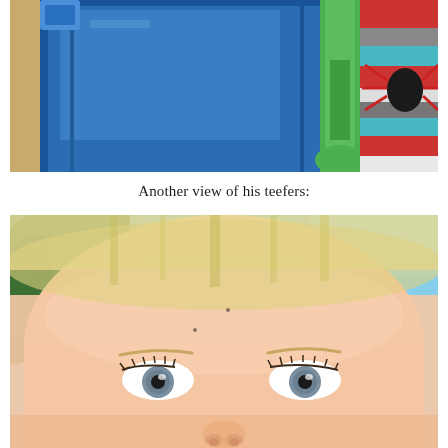[Figure (photo): Close-up photo of blue and green plastic toy items, with a child wearing a striped red, blue, gray, and white shirt with a spider/insect graphic visible on the right side.]
Another view of his teefers:
[Figure (photo): Close-up photo of a young blonde child's face from below, showing forehead, eyes with long lashes, and nose, with trees and blue sky visible in the background.]